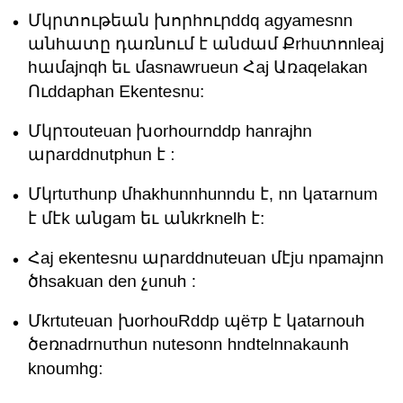Մկրտութեան խորհուրդք agyamesnn անհատը դառնում է անդամ Քրիստոնեայ համայնքի եւ մասնաւորաբար Հայ Առաքելական Ուղղափառ Եկեղեցու:
Մկրտութեան խորհուրդդը հանրային արարողութիւն է :
Մկրտութիւնը միակընorthronn է, որ կատարւում է մէկ անգամ եւ անկրկնելի է:
Հայ եկեղեցու արարողութեան մէջ նբամայրը ծիսական դեր չունի :
Մկրտութեան խորհուրդդը պէտք է կատարուի ծեռնադրութիւն ունեցող hոգեւորական կողմից: